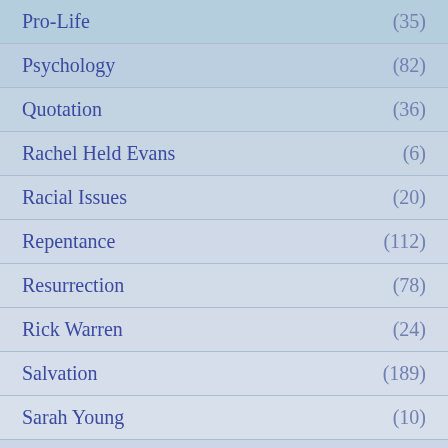Pro-Life (35)
Psychology (82)
Quotation (36)
Rachel Held Evans (6)
Racial Issues (20)
Repentance (112)
Resurrection (78)
Rick Warren (24)
Salvation (189)
Sarah Young (10)